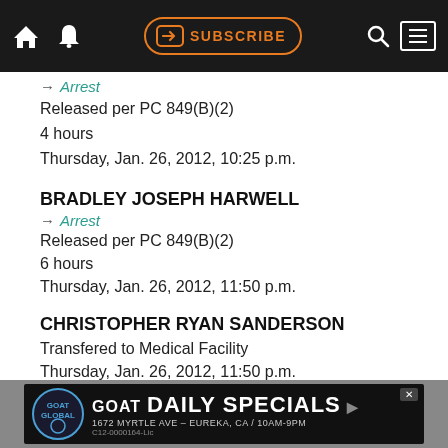SUBSCRIBE navigation bar
→ Arrest
Released per PC 849(B)(2)
4 hours
Thursday, Jan. 26, 2012, 10:25 p.m.
BRADLEY JOSEPH HARWELL
→ Arrest
Released per PC 849(B)(2)
6 hours
Thursday, Jan. 26, 2012, 11:50 p.m.
CHRISTOPHER RYAN SANDERSON
Transfered to Medical Facility
Thursday, Jan. 26, 2012, 11:50 p.m.
© 2022 Lost Coast Communications Contact: news@lostcoastoutpost.com.
[Figure (other): Goat Global Daily Specials advertisement banner: 1672 Myrtle Ave - Eureka, CA / 10AM-9PM, C12-0000164-Lic]